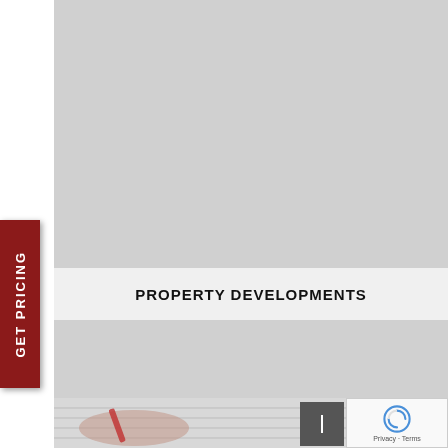[Figure (photo): Large gray placeholder image area at the top of the page]
PROPERTY DEVELOPMENTS
[Figure (photo): Gray band below the title]
[Figure (photo): Photo of a hand holding a red pen writing in a spiral notebook]
GET PRICING